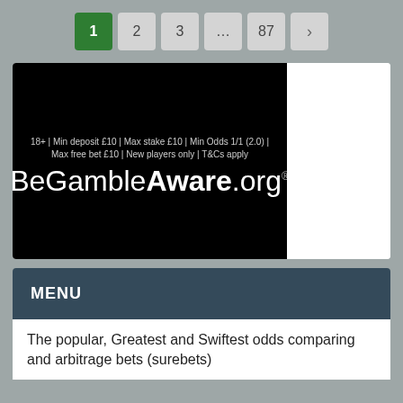1  2  3  ...  87  >
[Figure (illustration): Black background advertisement banner for BeGambleAware.org with terms text: 18+ | Min deposit £10 | Max stake £10 | Min Odds 1/1 (2.0) | Max free bet £10 | New players only | T&Cs apply, and the logo BeGambleAware.org with registered trademark symbol]
MENU
The popular, Greatest and Swiftest odds comparing and arbitrage bets (surebets)